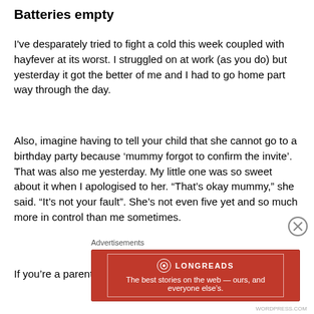Batteries empty
I've desparately tried to fight a cold this week coupled with hayfever at its worst.  I struggled on at work (as you do) but yesterday it got the better of me and I had to go home part way through the day.
Also, imagine having to tell your child that she cannot go to a birthday party because ‘mummy forgot to confirm the invite’.  That was also me yesterday.  My little one was so sweet about it when I apologised to her.  “That’s okay mummy,” she said.   “It’s not your fault”.  She’s not even five yet and so much more in control than me sometimes.
If you’re a parent, you will be able to relate to the amount
Advertisements
[Figure (other): Longreads advertisement banner: red background with Longreads logo and tagline 'The best stories on the web — ours, and everyone else's.']
WORDPRESS.COM